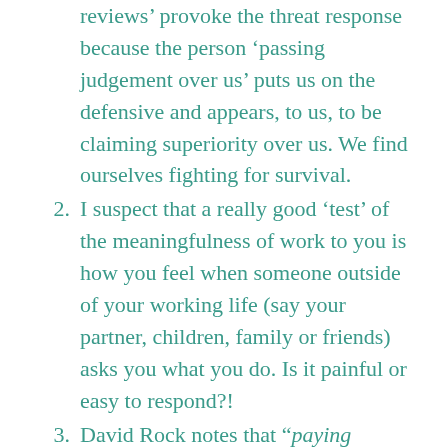reviews’ provoke the threat response because the person ‘passing judgement over us’ puts us on the defensive and appears, to us, to be claiming superiority over us. We find ourselves fighting for survival.
I suspect that a really good ‘test’ of the meaningfulness of work to you is how you feel when someone outside of your working life (say your partner, children, family or friends) asks you what you do. Is it painful or easy to respond?!
David Rock notes that “paying employees for the skills they have acquired, rather than for their seniority, is a status booster in itself. This is a very different logic to ‘incentive pay’.